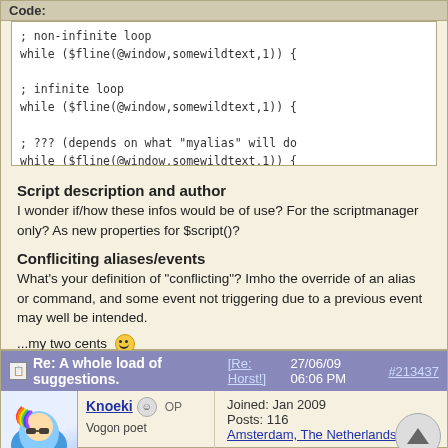Code:
[Figure (screenshot): Code block showing three code snippets with while loop using $fline(@window,somewildtext,1), labeled as non-infinite loop, infinite loop, and ??? (depends on what myalias will do)]
Script description and author
I wonder if/how these infos would be of use? For the scriptmanager only? As new properties for $script()?
Confliciting aliases/events
What's your definition of "conflicting"? Imho the override of an alias or command, and some event not triggering due to a previous event may well be intended.
...my two cents 😊
Re: A whole load of suggestions. [Re: Horst!]
27/06/09 06:06 PM  #213437
Knoeki  OP
Vogon poet
Joined: Jan 2009
Posts: 116
Amsterdam, The Netherlands